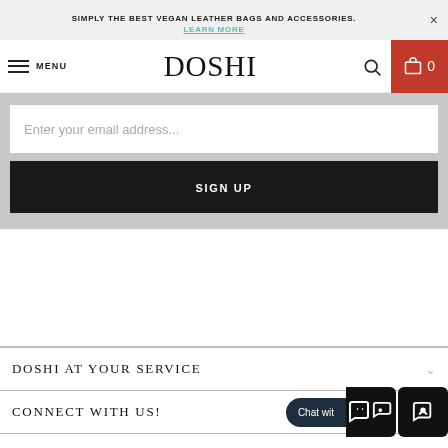SIMPLY THE BEST VEGAN LEATHER BAGS AND ACCESSORIES. LEARN MORE
DOSHI
Enter your email address...
SIGN UP
DOSHI AT YOUR SERVICE
CONNECT WITH US!
Chat wit